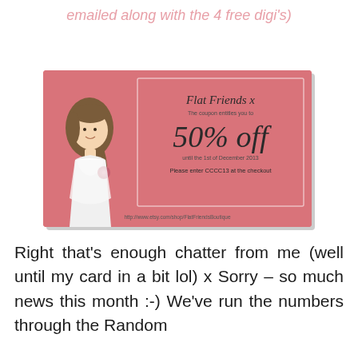emailed along with the 4 free digi's)
[Figure (illustration): Pink coupon card with a cartoon girl illustration on the left side wearing a white dress with brown hair. The coupon reads: Flat Friends x, The coupon entitles you to, 50% off, until the 1st of December 2013, Please enter CCCC13 at the checkout. URL: http://www.etsy.com/shop/FlatFriendsBoutique]
Right that's enough chatter from me (well until my card in a bit lol) x Sorry – so much news this month :-) We've run the numbers through the Random Number Generator and the winners of